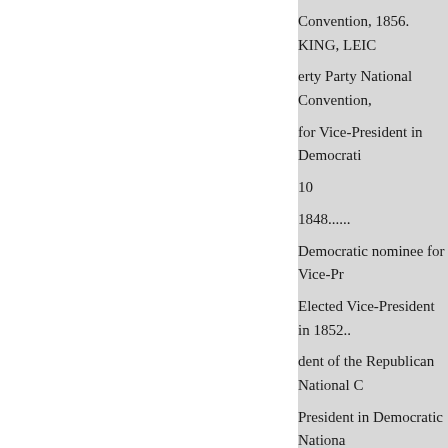Convention, 1856. KING, LEIC... erty Party National Convention, ... for Vice-President in Democratic... 10 1848...... Democratic nominee for Vice-Pr... Elected Vice-President in 1852... dent of the Republican National C... President in Democratic Nationa... Baltimore in 1860. Accepts no... President in American National C... feated for Vice-President in Whi... lution... LEE, HENRY, of Massa... by South Carolina for Vice-Presi... Abolition candidate for Vice-P... for Dissolution.. LIBERTY PART... at Buffalo in 1843....